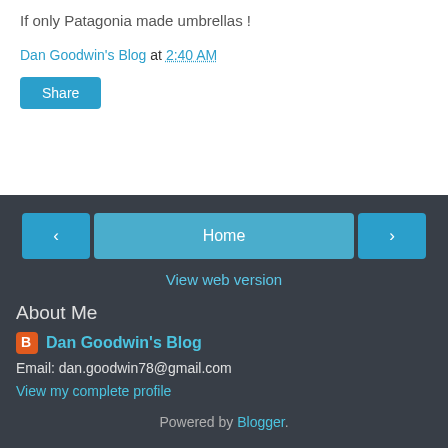If only Patagonia made umbrellas !
Dan Goodwin's Blog at 2:40 AM
Share
Home
View web version
About Me
Dan Goodwin's Blog
Email: dan.goodwin78@gmail.com
View my complete profile
Powered by Blogger.